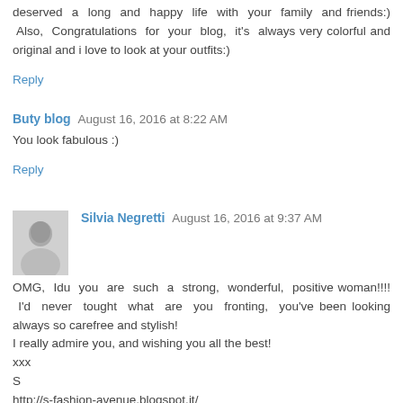deserved a long and happy life with your family and friends:) Also, Congratulations for your blog, it's always very colorful and original and i love to look at your outfits:)
Reply
Buty blog  August 16, 2016 at 8:22 AM
You look fabulous :)
Reply
Silvia Negretti  August 16, 2016 at 9:37 AM
OMG, Idu you are such a strong, wonderful, positive woman!!!! I'd never tought what are you fronting, you've been looking always so carefree and stylish!
I really admire you, and wishing you all the best!
xxx
S
http://s-fashion-avenue.blogspot.it/
Reply